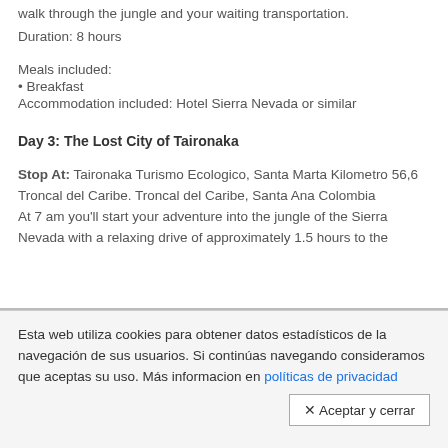walk through the jungle and your waiting transportation.
Duration: 8 hours
Meals included:
• Breakfast
Accommodation included: Hotel Sierra Nevada or similar
Day 3: The Lost City of Taironaka
Stop At: Taironaka Turismo Ecologico, Santa Marta Kilometro 56,6 Troncal del Caribe. Troncal del Caribe, Santa Ana Colombia At 7 am you'll start your adventure into the jungle of the Sierra Nevada with a relaxing drive of approximately 1.5 hours to the
Esta web utiliza cookies para obtener datos estadísticos de la navegación de sus usuarios. Si continúas navegando consideramos que aceptas su uso. Más informacion en políticas de privacidad
✕ Aceptar y cerrar